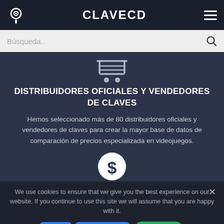CLAVECD
Búsqueda..
[Figure (illustration): Shopping cart icon in light gray/white outline on dark blue-gray background]
DISTRIBUIDORES OFICIALES Y VENDEDORES DE CLAVES
Hemos seleccionado más de 80 distribuidores oficiales y vendedores de claves para crear la mayor base de datos de comparación de precios especializada en videojuegos.
[Figure (illustration): Dollar sign icon inside a white circle on dark blue-gray background]
We use cookies to ensure that we give you the best experience on our website. If you continue to use this site we will assume that you are happy with it.